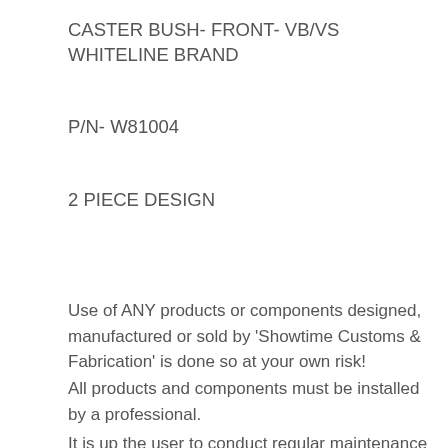CASTER BUSH- FRONT- VB/VS WHITELINE BRAND
P/N- W81004
2 PIECE DESIGN
Use of ANY products or components designed, manufactured or sold by ‘Showtime Customs & Fabrication’ is done so at your own risk!
All products and components must be installed by a professional.
It is up the user to conduct regular maintenance